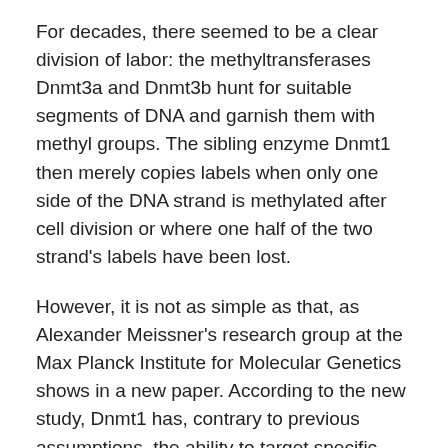For decades, there seemed to be a clear division of labor: the methyltransferases Dnmt3a and Dnmt3b hunt for suitable segments of DNA and garnish them with methyl groups. The sibling enzyme Dnmt1 then merely copies labels when only one side of the DNA strand is methylated after cell division or where one half of the two strand's labels have been lost.
However, it is not as simple as that, as Alexander Meissner's research group at the Max Planck Institute for Molecular Genetics shows in a new paper. According to the new study, Dnmt1 has, contrary to previous assumptions, the ability to target specific sequences in the mouse genome and attach methyl marks to them outside of its maintenance duties.
Methylation tags silence sections of the